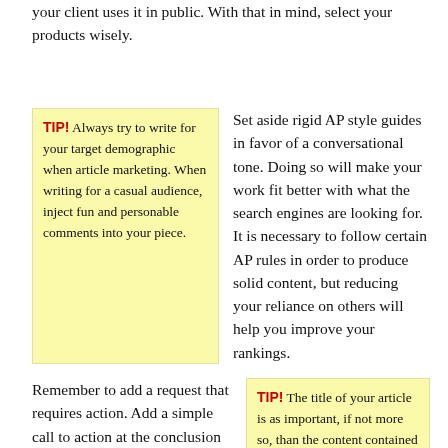your client uses it in public. With that in mind, select your products wisely.
TIP! Always try to write for your target demographic when article marketing. When writing for a casual audience, inject fun and personable comments into your piece.
Set aside rigid AP style guides in favor of a conversational tone. Doing so will make your work fit better with what the search engines are looking for. It is necessary to follow certain AP rules in order to produce solid content, but reducing your reliance on others will help you improve your rankings.
Remember to add a request that requires action. Add a simple call to action at the conclusion of each article you write, and make it easy
TIP! The title of your article is as important, if not more so, than the content contained